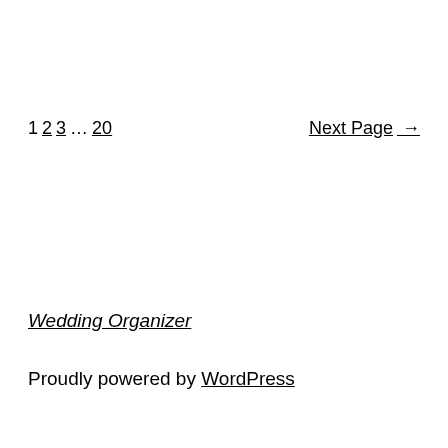1 2 3 … 20   Next Page →
Wedding Organizer
Proudly powered by WordPress